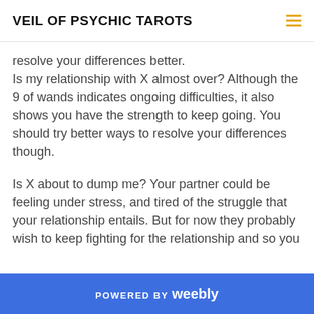VEIL OF PSYCHIC TAROTS
resolve your differences better.
Is my relationship with X almost over? Although the 9 of wands indicates ongoing difficulties, it also shows you have the strength to keep going. You should try better ways to resolve your differences though.
Is X about to dump me? Your partner could be feeling under stress, and tired of the struggle that your relationship entails. But for now they probably wish to keep fighting for the relationship and so you
POWERED BY weebly